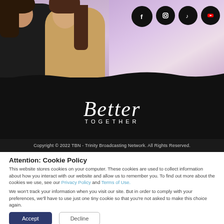[Figure (screenshot): Website header showing two women, purple wave background, social media icons (Facebook, Instagram, TikTok, YouTube), Better Together logo, and copyright bar on black background.]
Copyright © 2022 TBN - Trinity Broadcasting Network. All Rights Reserved.
Attention: Cookie Policy
This website stores cookies on your computer. These cookies are used to collect information about how you interact with our website and allow us to remember you. To find out more about the cookies we use, see our Privacy Policy and Terms of Use.
We won't track your information when you visit our site. But in order to comply with your preferences, we'll have to use just one tiny cookie so that you're not asked to make this choice again.